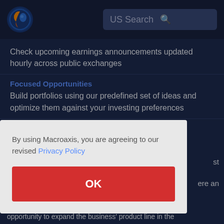[Figure (logo): Macroaxis logo — circular icon with orange and blue globe design]
US Search
Check upcoming earnings announcements updated hourly across public exchanges
Focused Opportunities
Build portfolios using our predefined set of ideas and optimize them against your investing preferences
By using Macroaxis, you are agreeing to our revised Privacy Policy
OK
opportunity to expand the business' product line in the